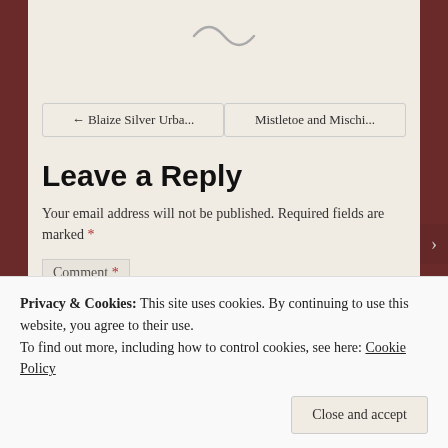[Figure (illustration): Decorative squiggle/tilde divider at top of content area]
← Blaize Silver Urba...
Mistletoe and Mischi...
Leave a Reply
Your email address will not be published. Required fields are marked *
Comment *
Privacy & Cookies: This site uses cookies. By continuing to use this website, you agree to their use.
To find out more, including how to control cookies, see here: Cookie Policy
Close and accept